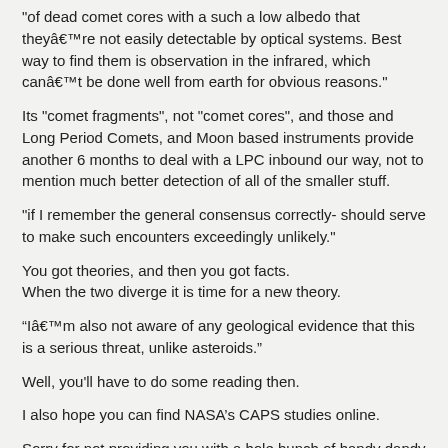"of dead comet cores with a such a low albedo that they're not easily detectable by optical systems. Best way to find them is observation in the infrared, which can't be done well from earth for obvious reasons."
Its "comet fragments", not "comet cores", and those and Long Period Comets, and Moon based instruments provide another 6 months to deal with a LPC inbound our way, not to mention much better detection of all of the smaller stuff.
"if I remember the general consensus correctly- should serve to make such encounters exceedingly unlikely."
You got theories, and then you got facts.
When the two diverge it is time for a new theory.
"I'm also not aware of any geological evidence that this is a serious threat, unlike asteroids."
Well, you'll have to do some reading then.
I also hope you can find NASA's CAPS studies online.
Sorry for not providing you with a hole bunch of handy dandy easy links, but I didn't see your post earlier, its late, and I'm going to have some dinner and then sleep